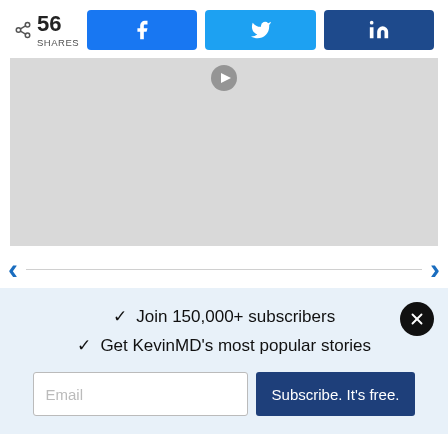56 SHARES (with share icon and social buttons: Facebook, Twitter, LinkedIn)
[Figure (photo): Gray placeholder image with a small play/media icon at the top center, inside a carousel with left and right navigation arrows]
✓  Join 150,000+ subscribers
✓  Get KevinMD's most popular stories
Email input field and Subscribe. It's free. button